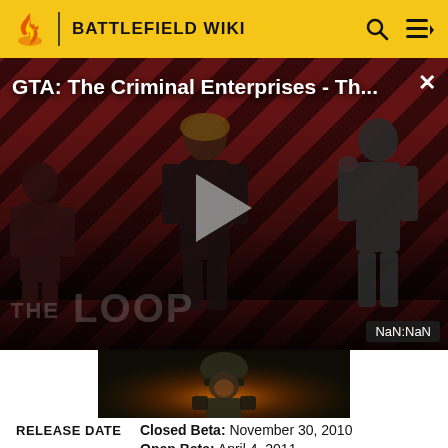BATTLEFIELD WIKI
[Figure (screenshot): Video overlay showing 'GTA: The Criminal Enterprises - Th...' with a play button, The Loop branding, characters silhouettes on a red diagonal striped background, and NaN:NaN duration badge]
[Figure (photo): Thumbnail image of a soldier in combat gear with fire/explosion background]
RELEASE DATE
Closed Beta: November 30, 2010
Open Beta: April 4, 2011